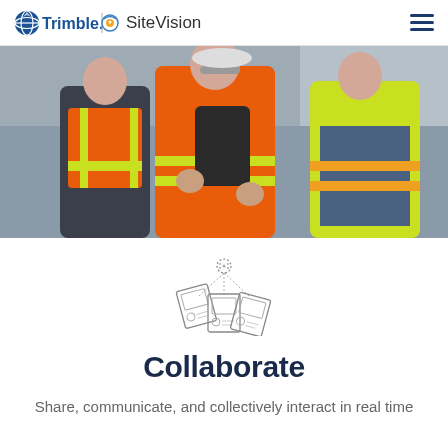Trimble | SiteVision
[Figure (photo): Three workers in safety vests (orange and yellow hi-vis) examining a handheld surveying/scanning device outdoors on a construction site.]
[Figure (illustration): Icon showing three overlapping document/panel shapes arranged in a fan, connected by dotted lines to a circular node above — representing collaboration and sharing.]
Collaborate
Share, communicate, and collectively interact in real time